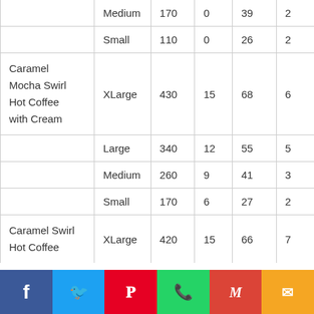|  | Size | Calories | Fat (g) | Carbs (g) |  |
| --- | --- | --- | --- | --- | --- |
|  | Medium | 170 | 0 | 39 | 2 |
|  | Small | 110 | 0 | 26 | 2 |
| Caramel Mocha Swirl Hot Coffee with Cream | XLarge | 430 | 15 | 68 | 6 |
|  | Large | 340 | 12 | 55 | 5 |
|  | Medium | 260 | 9 | 41 | 3 |
|  | Small | 170 | 6 | 27 | 2 |
| Caramel Swirl Hot Coffee | XLarge | 420 | 15 | 66 | 7 |